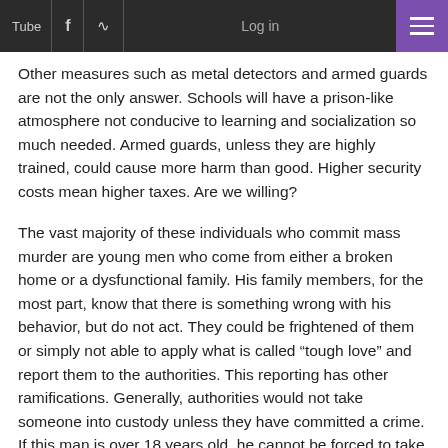Tube | f | (rss) | Log in | (menu)
Other measures such as metal detectors and armed guards are not the only answer. Schools will have a prison-like atmosphere not conducive to learning and socialization so much needed. Armed guards, unless they are highly trained, could cause more harm than good. Higher security costs mean higher taxes. Are we willing?
The vast majority of these individuals who commit mass murder are young men who come from either a broken home or a dysfunctional family. His family members, for the most part, know that there is something wrong with his behavior, but do not act. They could be frightened of them or simply not able to apply what is called “tough love” and report them to the authorities. This reporting has other ramifications. Generally, authorities would not take someone into custody unless they have committed a crime. If this man is over 18 years old, he cannot be forced to take a physiological test either.